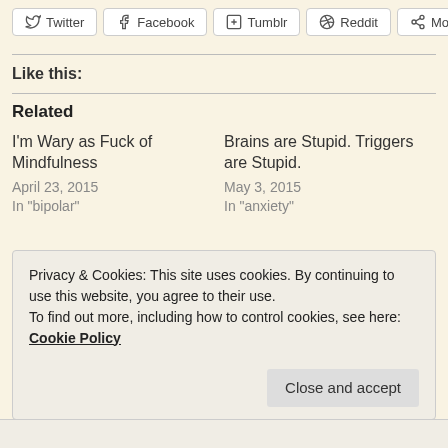Twitter | Facebook | Tumblr | Reddit | More
Like this:
Related
I'm Wary as Fuck of Mindfulness
April 23, 2015
In "bipolar"
Brains are Stupid. Triggers are Stupid.
May 3, 2015
In "anxiety"
Privacy & Cookies: This site uses cookies. By continuing to use this website, you agree to their use.
To find out more, including how to control cookies, see here: Cookie Policy